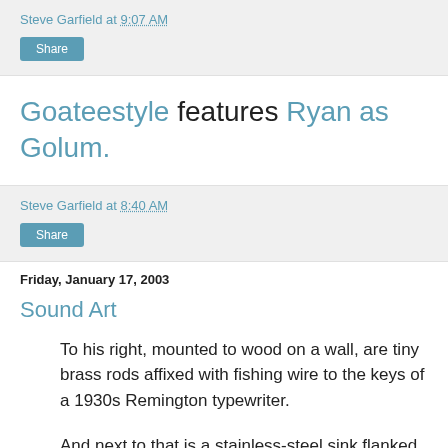Steve Garfield at 9:07 AM
Share
Goateestyle features Ryan as Golum.
Steve Garfield at 8:40 AM
Share
Friday, January 17, 2003
Sound Art
To his right, mounted to wood on a wall, are tiny brass rods affixed with fishing wire to the keys of a 1930s Remington typewriter.
And next to that is a stainless-steel sink flanked